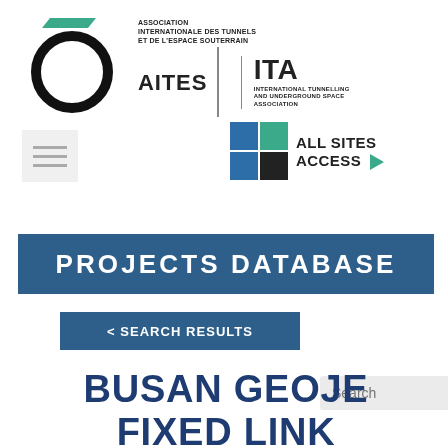[Figure (logo): AITES ITA logo: a thick black circle (tunnel cross-section) with a green diagonal stripe above, alongside text 'ASSOCIATION INTERNATIONALE DES TUNNELS ET DE L'ESPACE SOUTERRAIN AITES | ITA INTERNATIONAL TUNNELLING AND UNDERGROUND SPACE ASSOCIATION']
[Figure (infographic): All Sites Access button: 2x2 grid of colored squares (blue, green, black, green) with text 'ALL SITES ACCESS' and a green triangle arrow]
Search
PROJECTS DATABASE
< SEARCH RESULTS
BUSAN GEOJE FIXED LINK